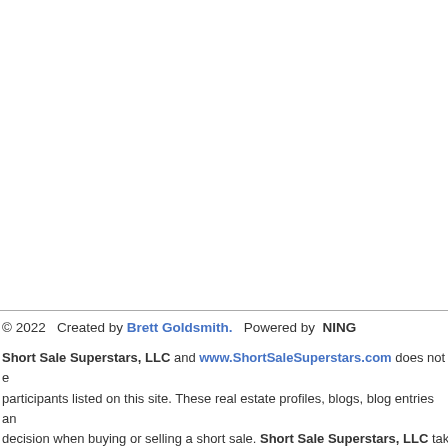by the lenders asap. Thank you.
Sincerely,

Richard "RJ" Kas
Realtor ® -Consultant -Advisor

Coldwell Banker Residential B

166 N. Canon Drive
Beverly Hills, CA 90210
(310) 488-9826 | rjkas@coldwe
CalBRE # 01352771
© 2022   Created by Brett Goldsmith.   Powered by  NING
Short Sale Superstars, LLC and www.ShortSaleSuperstars.com does not endorse any of the participants listed on this site. These real estate profiles, blogs, blog entries and comments and any other content published by participants at Short Sale Superstars may not constitute legal or financial advice. Always seek the services of a legally licensed real estate professional before making any decision when buying or selling a short sale. Short Sale Superstars, LLC takes no responsibility for the content in this community.
********************************* like buttons
*********************